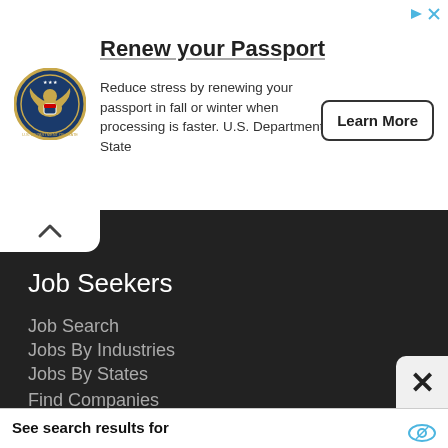[Figure (logo): U.S. Department of State seal/logo]
Renew your Passport
Reduce stress by renewing your passport in fall or winter when processing is faster. U.S. Department of State
Learn More
Job Seekers
Job Search
Jobs By Industries
Jobs By States
Find Companies
See search results for
1   Part Time Jobs For Seniors
2   Senior Citizen Job Offers
Yahoo! Search | Sponsored